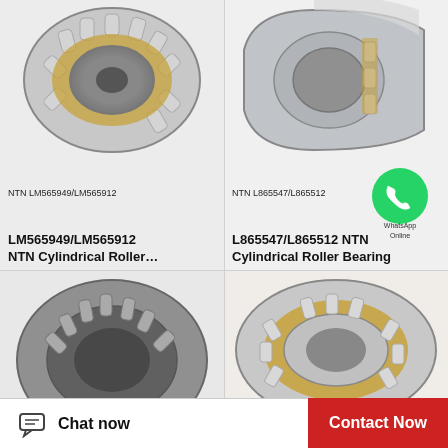[Figure (photo): NTN LM565949/LM565912 double-row cylindrical roller bearing, silver/gold colored, top-left quadrant]
NTN LM565949/LM565912
LM565949/LM565912 NTN Cylindrical Roller…
[Figure (photo): NTN L865547/L865512 single-row cylindrical roller bearing, silver/gold colored, top-right quadrant]
NTN L865547/L865512
L865547/L865512 NTN Cylindrical Roller Bearing
[Figure (photo): Cylindrical roller bearing photo, bottom-left quadrant, partial view]
[Figure (photo): Double-row cylindrical roller bearing with gold cage, bottom-right quadrant, partial view]
[Figure (logo): WhatsApp green circle icon with phone handset, overlaid on top-right area. Text: WhatsApp Online]
Chat now
Contact Now